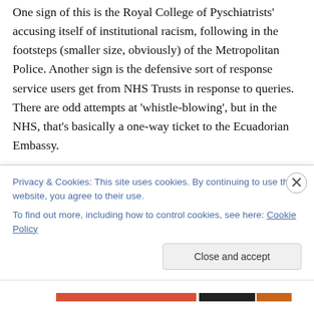One sign of this is the Royal College of Pyschiatrists' accusing itself of institutional racism, following in the footsteps (smaller size, obviously) of the Metropolitan Police. Another sign is the defensive sort of response service users get from NHS Trusts in response to queries.  There are odd attempts at 'whistle-blowing', but in the NHS, that's basically a one-way ticket to the Ecuadorian Embassy.

Closing ranks is not the answer, nor is smashing the system. Everyone knows that Psychiatry is the Cinderella
Privacy & Cookies: This site uses cookies. By continuing to use this website, you agree to their use.
To find out more, including how to control cookies, see here: Cookie Policy